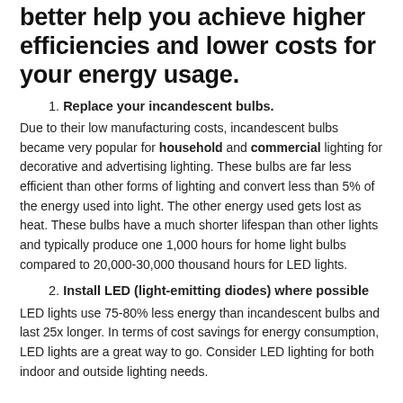better help you achieve higher efficiencies and lower costs for your energy usage.
1. Replace your incandescent bulbs.
Due to their low manufacturing costs, incandescent bulbs became very popular for household and commercial lighting for decorative and advertising lighting. These bulbs are far less efficient than other forms of lighting and convert less than 5% of the energy used into light. The other energy used gets lost as heat. These bulbs have a much shorter lifespan than other lights and typically produce one 1,000 hours for home light bulbs compared to 20,000-30,000 thousand hours for LED lights.
2. Install LED (light-emitting diodes) where possible
LED lights use 75-80% less energy than incandescent bulbs and last 25x longer. In terms of cost savings for energy consumption, LED lights are a great way to go. Consider LED lighting for both indoor and outside lighting needs.